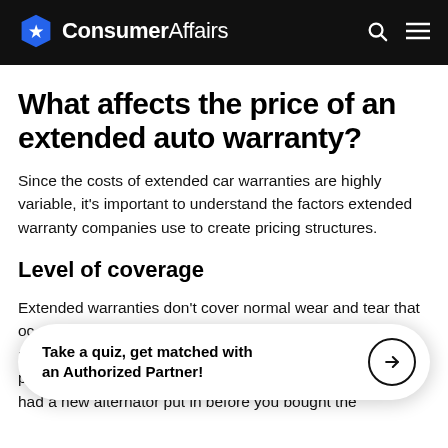ConsumerAffairs
What affects the price of an extended auto warranty?
Since the costs of extended car warranties are highly variable, it's important to understand the factors extended warranty companies use to create pricing structures.
Level of coverage
Extended warranties don't cover normal wear and tear that oc... for repai... y parts li... you had a new alternator put in before you bought the
Take a quiz, get matched with an Authorized Partner!